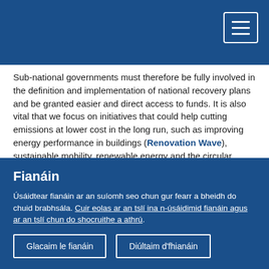Sub-national governments must therefore be fully involved in the definition and implementation of national recovery plans and be granted easier and direct access to funds. It is also vital that we focus on initiatives that could help cutting emissions at lower cost in the long run, such as improving energy performance in buildings (Renovation Wave), sustainable mobility, renewable energy and the circular economy.
Can you explain your 'lighthouse' approach?
The 'lighthouse' approach implies a model where one city
Fianáin
Úsáidtear fianáin ar an suíomh seo chun gur fearr a bheidh do chuid brabhsála. Cuir eolas ar an tslí ina n-úsáidimid fianáin agus ar an tslí chun do shocruithe a athrú.
Glacaim le fianáin
Diúltaim d'fhianáin